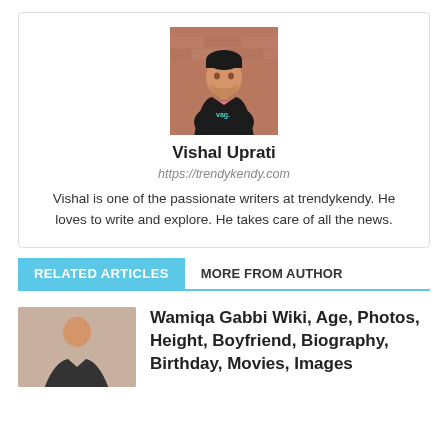[Figure (photo): Author profile photo of Vishal Uprati, a young man in a dark jacket standing in front of a brick wall]
Vishal Uprati
https://trendykendy.com
Vishal is one of the passionate writers at trendykendy. He loves to write and explore. He takes care of all the news.
RELATED ARTICLES
MORE FROM AUTHOR
Wamiqa Gabbi Wiki, Age, Photos, Height, Boyfriend, Biography, Birthday, Movies, Images